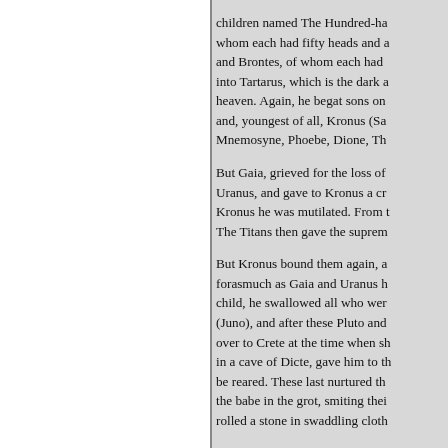children named The Hundred-ha whom each had fifty heads and a and Brontes, of whom each had into Tartarus, which is the dark a heaven. Again, he begat sons on and, youngest of all, Kronus (Sa Mnemosyne, Phoebe, Dione, Th

But Gaia, grieved for the loss of Uranus, and gave to Kronus a cr Kronus he was mutilated. From t The Titans then gave the suprem

But Kronus bound them again, a forasmuch as Gaia and Uranus h child, he swallowed all who wer (Juno), and after these Pluto and over to Crete at the time when sh in a cave of Dicte, gave him to th be reared. These last nurtured th the babe in the grot, smiting thei rolled a stone in swaddling cloth

Now when Zeus had attained his administered a drug' to Kronus, t